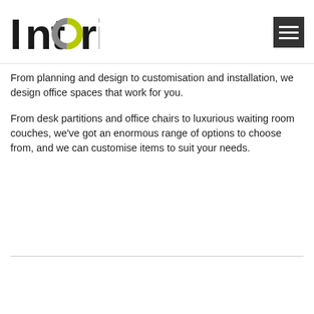[Figure (logo): Interia logo: stylized text 'Interia' with the letter 'o' replaced by a circular icon with a yellow/green upper arc and gray lower arc]
[Figure (other): Hamburger menu icon: dark gray square with three white horizontal lines]
From planning and design to customisation and installation, we design office spaces that work for you.
From desk partitions and office chairs to luxurious waiting room couches, we've got an enormous range of options to choose from, and we can customise items to suit your needs.